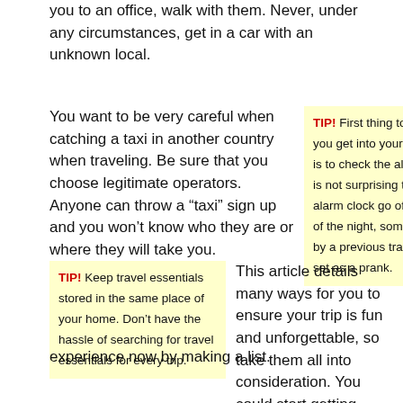you to an office, walk with them. Never, under any circumstances, get in a car with an unknown local.
You want to be very careful when catching a taxi in another country when traveling. Be sure that you choose legitimate operators. Anyone can throw a “taxi” sign up and you won’t know who they are or where they will take you.
TIP! First thing to do when you get into your hotel room is to check the alarm clock. It is not surprising to have an alarm clock go off in the dead of the night, sometimes set by a previous traveler or even set as a prank.
TIP! Keep travel essentials stored in the same place of your home. Don’t have the hassle of searching for travel essentials for every trip.
This article details many ways for you to ensure your trip is fun and unforgettable, so take them all into consideration. You could start getting ready for your traveling experience now by making a list.